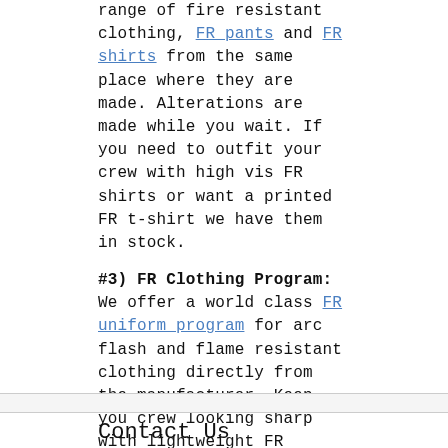range of fire resistant clothing, FR pants and FR shirts from the same place where they are made. Alterations are made while you wait. If you need to outfit your crew with high vis FR shirts or want a printed FR t-shirt we have them in stock.
#3) FR Clothing Program: We offer a world class FR uniform program for arc flash and flame resistant clothing directly from the manufacturer. Keep you crew looking sharp with lightweight FR shirts and your company logo on FRC uniforms that you own, as opposed to renting. We make it simple, cost effective and without the expense of an industrial laundry.
Contact Us
Location & Mailing Address